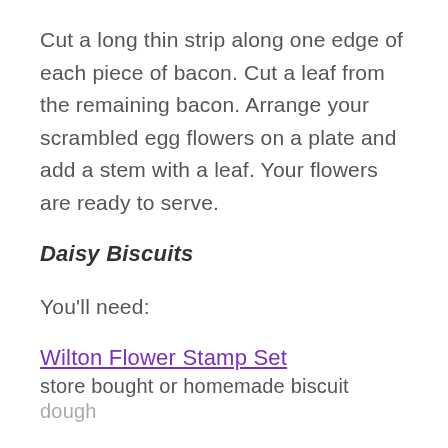Cut a long thin strip along one edge of each piece of bacon. Cut a leaf from the remaining bacon. Arrange your scrambled egg flowers on a plate and add a stem with a leaf. Your flowers are ready to serve.
Daisy Biscuits
You'll need:
Wilton Flower Stamp Set
store bought or homemade biscuit dough